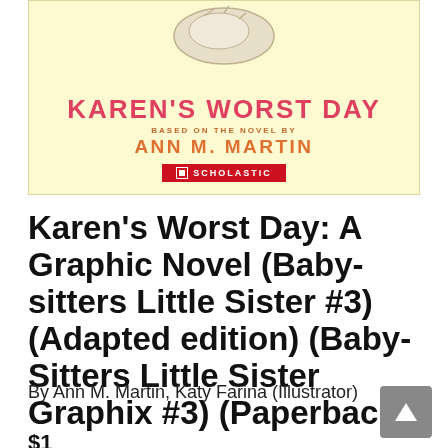[Figure (illustration): Book cover for Karen's Worst Day: A Graphic Novel — yellow background with title in red bold text, 'BASED ON THE NOVEL BY' in orange small caps, 'ANN M. MARTIN' in orange bold, and a red Scholastic badge. Partial shoe illustration visible at top.]
Karen's Worst Day: A Graphic Novel (Baby-sitters Little Sister #3) (Adapted edition) (Baby-Sitters Little Sister Graphix #3) (Paperback)
By Ann M. Martin, Katy Farina (Illustrator)